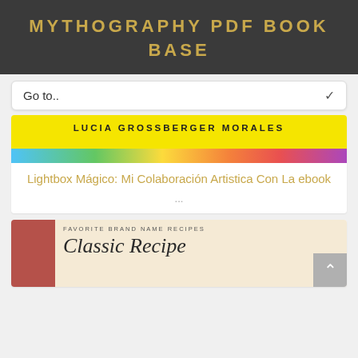MYTHOGRAPHY PDF BOOK BASE
Go to..
[Figure (photo): Book cover with yellow background showing author name LUCIA GROSSBERGER MORALES in bold black letters, with a colorful mosaic/paint strip at the bottom]
Lightbox Mágico: Mi Colaboración Artistica Con La ebook
...
[Figure (photo): Book cover with red spine on left and cream/beige background, showing text FAVORITE BRAND NAME RECIPES and Classic Recipe in italic serif font]